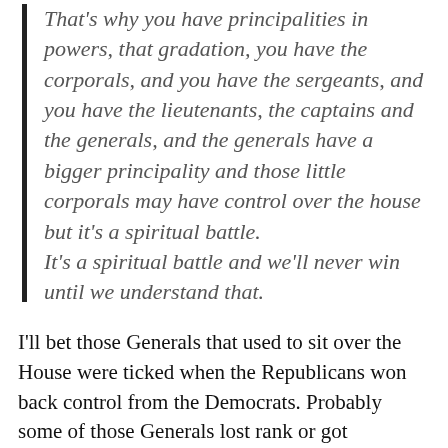That's why you have principalities in powers, that gradation, you have the corporals, and you have the sergeants, and you have the lieutenants, the captains and the generals, and the generals have a bigger principality and those little corporals may have control over the house but it's a spiritual battle. It's a spiritual battle and we'll never win until we understand that.
I'll bet those Generals that used to sit over the House were ticked when the Republicans won back control from the Democrats. Probably some of those Generals lost rank or got